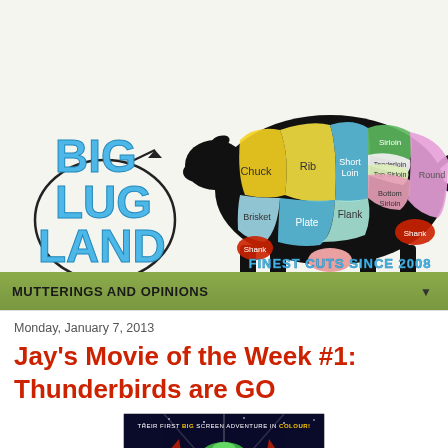[Figure (logo): Big Lug Land blog header with logo text and beef cuts diagram of a cow showing Chuck, Rib, Short Loin, Sirloin, Tenderloin, Top Sirloin, Round, Shank, Brisket, Plate, Flank, Bottom Sirloin labeled in colored sections. Text reads FINEST CUTS SINCE 2008]
MUTTERINGS AND OPINIONS
Monday, January 7, 2013
Jay's Movie of the Week #1: Thunderbirds are GO
[Figure (photo): Movie poster for Thunderbirds are GO showing rockets and space imagery with text THEIR FIRST BIG SCREEN ADVENTURE IN COLOUR!]